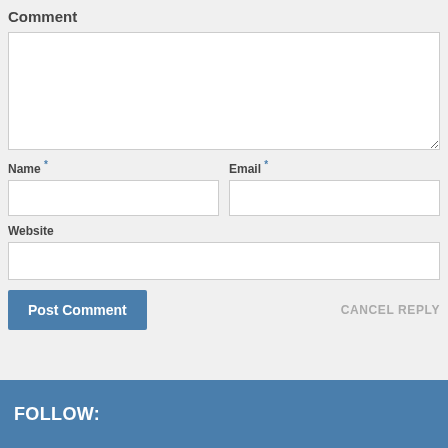Comment
[Figure (screenshot): Comment form with textarea, Name, Email, Website fields, Post Comment button and Cancel Reply link]
FOLLOW: